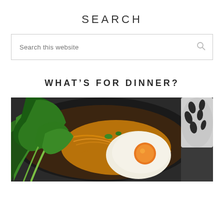SEARCH
[Figure (other): Search box with placeholder text 'Search this website' and a magnifying glass icon on the right]
WHAT'S FOR DINNER?
[Figure (photo): Close-up photo of a bowl of Asian noodles (ramen) with a fried egg, green vegetables (bok choy), and a dark broth. A patterned cup/mug is partially visible in the background upper right.]